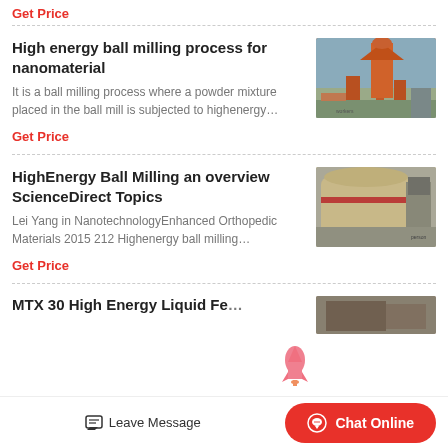Get Price
High energy ball milling process for nanomaterial
It is a ball milling process where a powder mixture placed in the ball mill is subjected to highenergy…
[Figure (photo): Orange industrial ball milling equipment outdoors]
Get Price
HighEnergy Ball Milling an overview ScienceDirect Topics
Lei Yang in NanotechnologyEnhanced Orthopedic Materials 2015 212 Highenergy ball milling…
[Figure (photo): Large beige/tan industrial mill equipment with red stripe]
Get Price
MTX 30 High Energy Liquid Fe…
[Figure (photo): Industrial equipment partially visible at bottom]
Leave Message
Chat Online